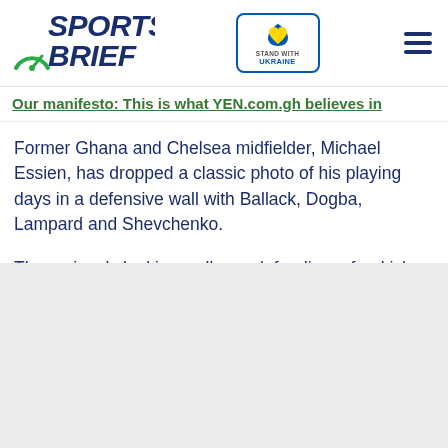Sports Brief — Stand with Ukraine header
Our manifesto: This is what YEN.com.gh believes in
Former Ghana and Chelsea midfielder, Michael Essien, has dropped a classic photo of his playing days in a defensive wall with Ballack, Dogba, Lampard and Shevchenko.
The seriously looking wall was defending a freekick with all five players sternly watching on.